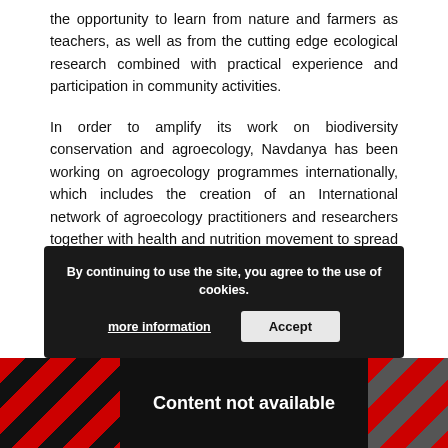the opportunity to learn from nature and farmers as teachers, as well as from the cutting edge ecological research combined with practical experience and participation in community activities.
In order to amplify its work on biodiversity conservation and agroecology, Navdanya has been working on agroecology programmes internationally, which includes the creation of an International network of agroecology practitioners and researchers together with health and nutrition movement to spread awareness that agroecology provides a solution to malnutrition.
Two major courses are the ‘A-Z of Agroecology and Organic Food Systems’ and ‘Gandhi, Globalization and Earth Democracy.
[Figure (screenshot): Cookie consent banner overlay on dark background with text 'By continuing to use the site, you agree to the use of cookies.' with 'more information' link and 'Accept' button. Below is a 'Content not available' overlay with red and black diagonal stripe pattern.]